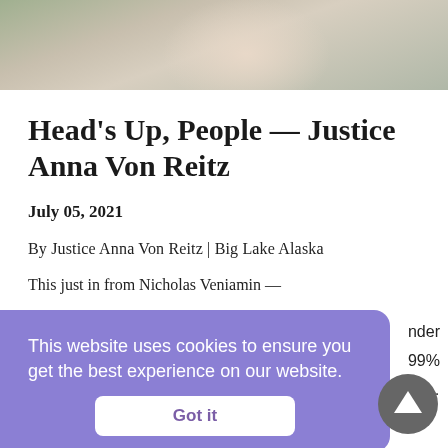[Figure (photo): Partial photo of a person outdoors, cropped to show top of head area and outdoor background with grass and wooden elements]
Head’s Up, People — Justice Anna Von Reitz
July 05, 2021
By Justice Anna Von Reitz | Big Lake Alaska
This just in from Nicholas Veniamin —
This website uses cookies to ensure you get the best experience on our website.
Got it